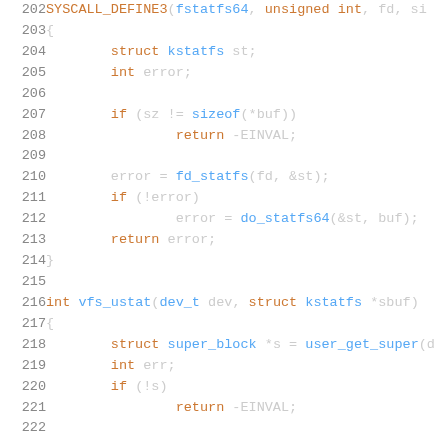Code listing lines 202-222 showing fstatfs64 syscall and vfs_ustat function definitions in C